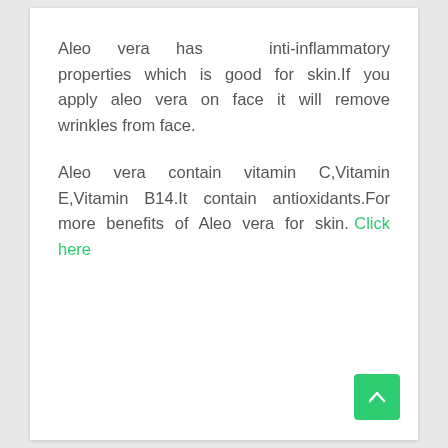Aleo vera has inti-inflammatory properties which is good for skin.If you apply aleo vera on face it will remove wrinkles from face.
Aleo vera contain vitamin C,Vitamin E,Vitamin B14.It contain antioxidants.For more benefits of Aleo vera for skin. Click here